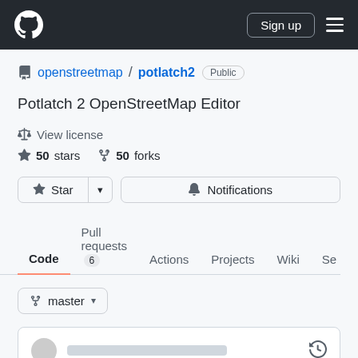[Figure (screenshot): GitHub navigation bar with logo, Sign up button, and hamburger menu]
openstreetmap / potlatch2   Public
Potlatch 2 OpenStreetMap Editor
View license
50 stars   50 forks
Star   Notifications
Code   Pull requests 6   Actions   Projects   Wiki   Se...
master
View code